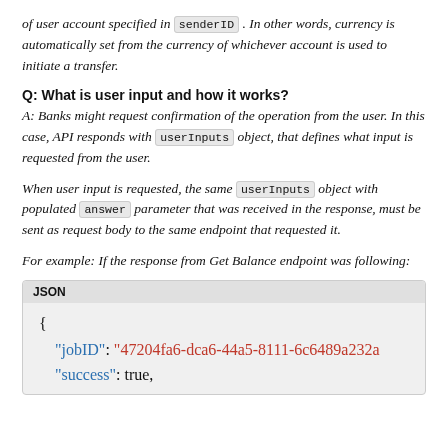of user account specified in senderID. In other words, currency is automatically set from the currency of whichever account is used to initiate a transfer.
Q: What is user input and how it works?
A: Banks might request confirmation of the operation from the user. In this case, API responds with userInputs object, that defines what input is requested from the user.
When user input is requested, the same userInputs object with populated answer parameter that was received in the response, must be sent as request body to the same endpoint that requested it.
For example: If the response from Get Balance endpoint was following:
[Figure (screenshot): JSON code block showing: { "jobID": "47204fa6-dca6-44a5-8111-6c6489a232a", "success": true,]